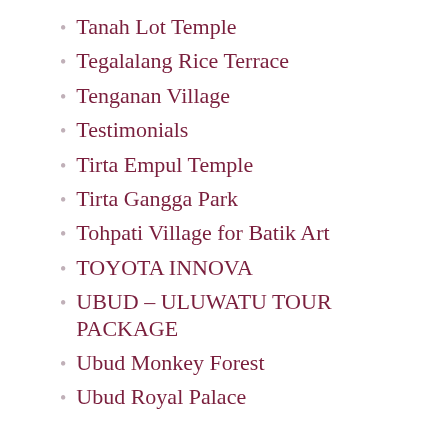Tanah Lot Temple
Tegalalang Rice Terrace
Tenganan Village
Testimonials
Tirta Empul Temple
Tirta Gangga Park
Tohpati Village for Batik Art
TOYOTA INNOVA
UBUD – ULUWATU TOUR PACKAGE
Ubud Monkey Forest
Ubud Royal Palace